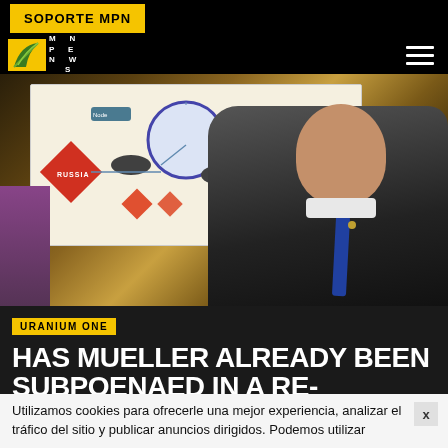SOPORTE MPN
[Figure (photo): Man in dark suit gesturing in front of a large white chart/poster showing Russia connections diagram with DOJ seal; photo has warm dark tones]
URANIUM ONE
HAS MUELLER ALREADY BEEN SUBPOENAED IN A RE-IMPANELED URANIUM ONE
Utilizamos cookies para ofrecerle una mejor experiencia, analizar el tráfico del sitio y publicar anuncios dirigidos. Podemos utilizar